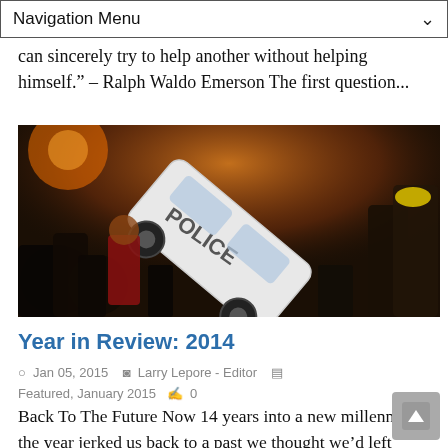Navigation Menu
can sincerely try to help another without helping himself." – Ralph Waldo Emerson The first question...
[Figure (photo): A crowd of people surrounding a flipped police car at night, with orange ambient lighting.]
Year in Review: 2014
Jan 05, 2015  Larry Lepore - Editor  Featured, January 2015  0
Back To The Future Now 14 years into a new millennium, the year jerked us back to a past we thought we’d left behind:  Beheadings, race riots, Soviet-style conflict, and runaway epidemics  ...